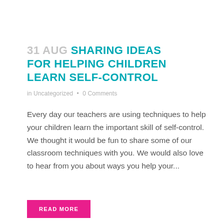31 AUG SHARING IDEAS FOR HELPING CHILDREN LEARN SELF-CONTROL
in Uncategorized • 0 Comments
Every day our teachers are using techniques to help your children learn the important skill of self-control. We thought it would be fun to share some of our classroom techniques with you. We would also love to hear from you about ways you help your...
READ MORE